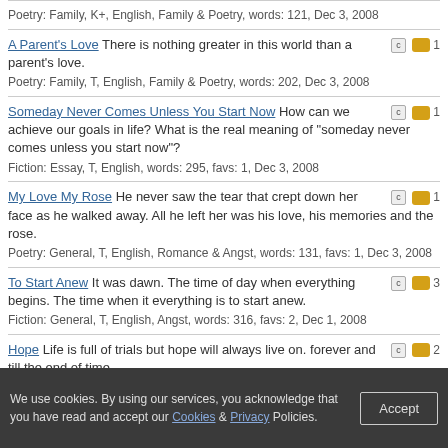Poetry: Family, K+, English, Family & Poetry, words: 121, Dec 3, 2008
A Parent's Love There is nothing greater in this world than a parent's love. Poetry: Family, T, English, Family & Poetry, words: 202, Dec 3, 2008
Someday Never Comes Unless You Start Now How can we achieve our goals in life? What is the real meaning of "someday never comes unless you start now"? Fiction: Essay, T, English, words: 295, favs: 1, Dec 3, 2008
My Love My Rose He never saw the tear that crept down her face as he walked away. All he left her was his love, his memories and the rose. Poetry: General, T, English, Romance & Angst, words: 131, favs: 1, Dec 3, 2008
To Start Anew It was dawn. The time of day when everything begins. The time when it everything is to start anew. Fiction: General, T, English, Angst, words: 316, favs: 2, Dec 1, 2008
Hope Life is full of trials but hope will always live on. forever and till the end of time. Poetry: General, K+, English, words: 68, Nov 27, 2008
Author: Follow Favorite Go
We use cookies. By using our services, you acknowledge that you have read and accept our Cookies & Privacy Policies. Accept